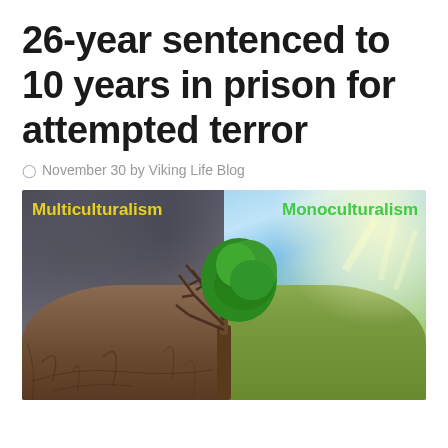26-year sentenced to 10 years in prison for attempted terror
November 30 by Viking Life Blog
[Figure (illustration): Split image showing a dead, bare tree on the left side (stormy dark sky, cracked dry ground) labeled 'Multiculturalism' in yellow, and a lush green tree on the right side (sunny blue sky, green grass) labeled 'Monoculturalism' in green. The tree trunk is shared in the center.]